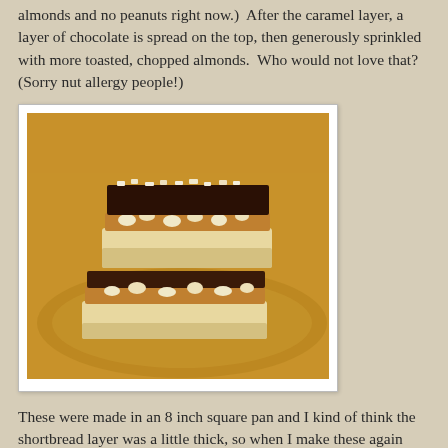almonds and no peanuts right now.)  After the caramel layer, a layer of chocolate is spread on the top, then generously sprinkled with more toasted, chopped almonds.  Who would not love that?  (Sorry nut allergy people!)
[Figure (photo): A stack of layered shortbread bars with caramel, chocolate, and chopped almonds on a gold plate]
These were made in an 8 inch square pan and I kind of think the shortbread layer was a little thick, so when I make these again sometime, I will try them in a 9 inch pan.  In the recipe, it was suggested to make a caramel-glaze for the nuts.  I decided not to do that and just used toasted almonds.  And what could be better than dulce de leche?  Of course, chocolate with it!  I used a semi-sweet chocolate instead of